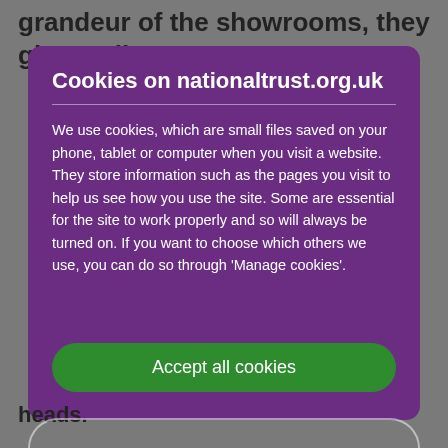grandeur of the showrooms, they give a glimpse
Cookies on nationaltrust.org.uk
We use cookies, which are small files saved on your phone, tablet or computer when you visit a website. They store information such as the pages you visit to help us see how you use the site. Some are essential for the site to work properly and so will always be turned on. If you want to choose which others we use, you can do so through 'Manage cookies'.
Accept all cookies
heads.